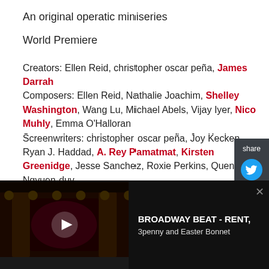An original operatic miniseries
World Premiere
Creators: Ellen Reid, christopher oscar peña, James Darrah
Composers: Ellen Reid, Nathalie Joachim, Shelley Washington, Wang Lu, Michael Abels, Vijay Iyer, Nico Muhly, Emma O'Halloran
Screenwriters: christopher oscar peña, Joy Kecken, Ryan J. Haddad, A. Rey Pamatmat, Kirsten Greenidge, Jesse Sanchez, Roxie Perkins, Quentin Ngyuen-duy
[Figure (screenshot): Share panel with Twitter and Facebook icons on dark background]
[Figure (screenshot): Broadway Beat advertisement bar showing theater stage with play button, title BROADWAY BEAT - RENT, 3penny and Easter Bonnet]